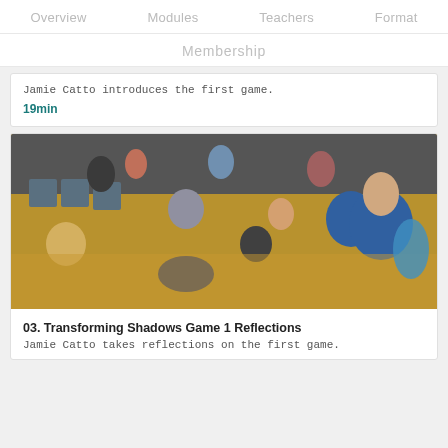Overview   Modules   Teachers   Format
Membership
Jamie Catto introduces the first game.
19min
[Figure (photo): Group of adults and children sitting and standing on a gymnasium floor during a workshop or game session.]
03. Transforming Shadows Game 1 Reflections
Jamie Catto takes reflections on the first game.